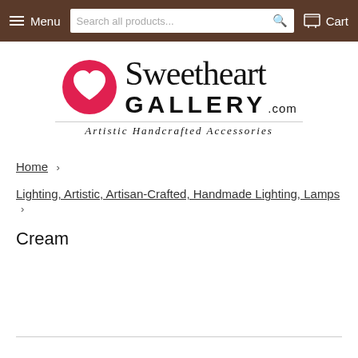Menu  Search all products...  Cart
[Figure (logo): Sweetheart Gallery.com logo with red heart icon and tagline 'Artistic Handcrafted Accessories']
Home >
Lighting, Artistic, Artisan-Crafted, Handmade Lighting, Lamps >
Cream